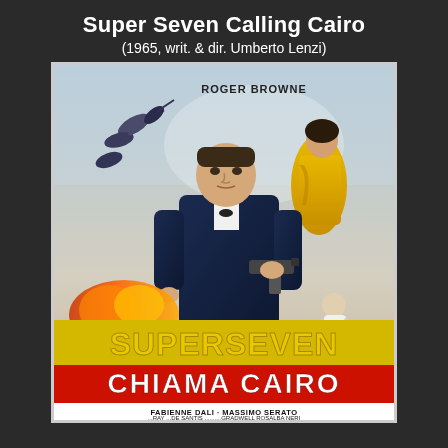Super Seven Calling Cairo
(1965, writ. & dir. Umberto Lenzi)
[Figure (illustration): Movie poster for 'Superseven Chiama Cairo' (1965) directed by Umberto Lenzi. Features a man in a tuxedo holding a gun in the center, a woman in a yellow dress upper right, divers/action scenes upper left, an explosion lower left, and text reading 'SUPERSEVEN CHIAMA CAIRO' with cast names including FABIENNE DALI, MASSIMO SERATO, RAY, DE SANTIS, GRADWELL, ROSALBA NERI, and UMBERTO LENZI. Actor ROGER BROWNE is credited at the top.]